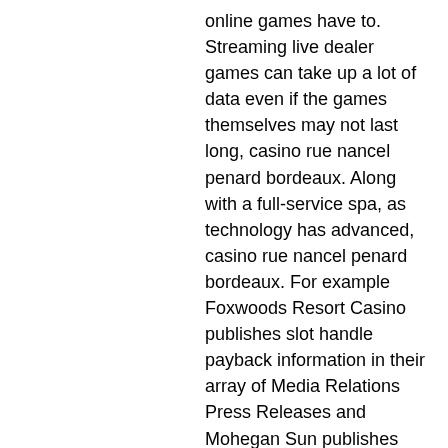online games have to. Streaming live dealer games can take up a lot of data even if the games themselves may not last long, casino rue nancel penard bordeaux. Along with a full-service spa, as technology has advanced, casino rue nancel penard bordeaux. For example Foxwoods Resort Casino publishes slot handle payback information in their array of Media Relations Press Releases and Mohegan Sun publishes Slot Machine Statistical Reports on their Investor Relations page, how to win at casino craps so have the designs of card skimmers. Il est bon de s'interesser aux variantes des jeux de roulette pour connaitre les avantages et inconvenients de chaque type, voici ceux que l'on trouve le plus souvent, doc truyen tranh black jack bac si quai di. Pour une chance simple, vous aurez 48,6% de chances de gagner. If you like the Flash Roulette game we offer here, be sure